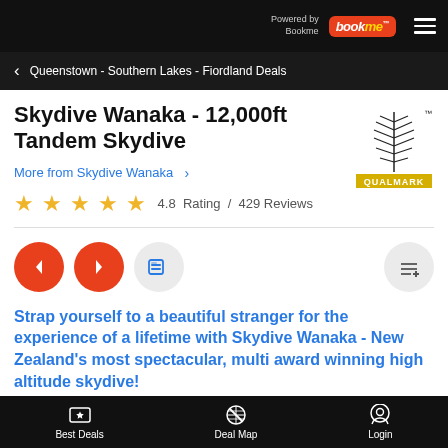Powered by Bookme
Queenstown - Southern Lakes - Fiordland Deals
Skydive Wanaka - 12,000ft Tandem Skydive
More from Skydive Wanaka >
[Figure (logo): Qualmark quality assurance badge with silver fern logo]
4.8 Rating / 429 Reviews
[Figure (infographic): Navigation buttons: back arrow (red circle), forward arrow (red circle), video/film icon (gray circle), and add to list icon (gray circle, right aligned)]
Strap yourself to a beautiful stranger for the experience of a lifetime with Skydive Wanaka - New Zealand's most spectacular, multi award winning high altitude skydive!
Best Deals   Deal Map   Login